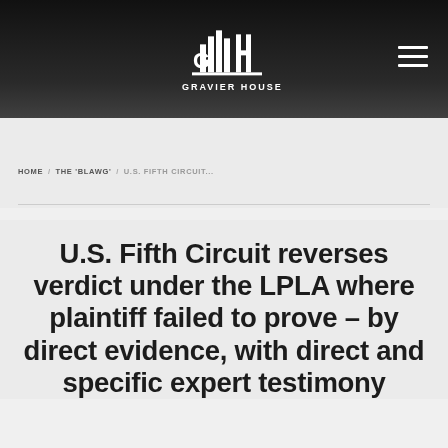GRAVIER HOUSE PRESS
HOME / THE 'BLAWG' / U.S. FIFTH CIRCUIT...
U.S. Fifth Circuit reverses verdict under the LPLA where plaintiff failed to prove – by direct evidence, with direct and specific expert testimony